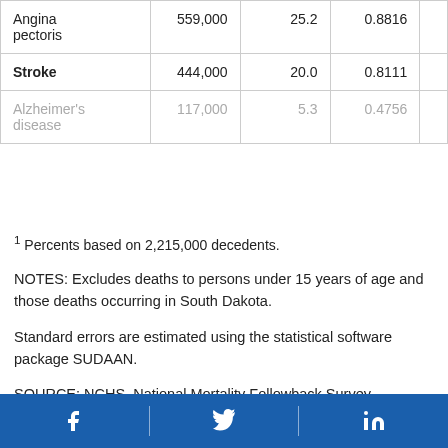| Condition | Number | Percent | Coefficient |  |
| --- | --- | --- | --- | --- |
| Angina pectoris | 559,000 | 25.2 | 0.8816 |  |
| Stroke | 444,000 | 20.0 | 0.8111 |  |
| Alzheimer's disease | 117,000 | 5.3 | 0.4756 |  |
1 Percents based on 2,215,000 decedents.
NOTES: Excludes deaths to persons under 15 years of age and those deaths occurring in South Dakota.
Standard errors are estimated using the statistical software package SUDAAN.
SOURCE: NCHS, National Mortality Followback Survey
[Facebook] [Twitter] [LinkedIn]